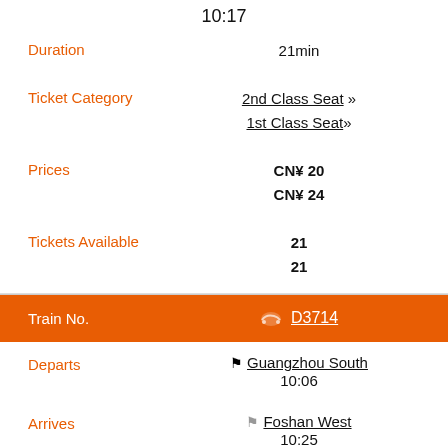10:17
Duration    21min
Ticket Category    2nd Class Seat »  1st Class Seat»
Prices    CN¥20  CN¥24
Tickets Available    21  21
Train No.    D3714
Departs    Guangzhou South  10:06
Arrives    Foshan West  10:25